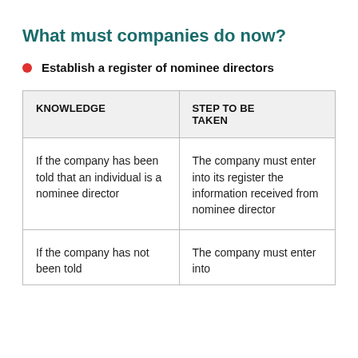What must companies do now?
Establish a register of nominee directors
| KNOWLEDGE | STEP TO BE TAKEN |
| --- | --- |
| If the company has been told that an individual is a nominee director | The company must enter into its register the information received from nominee director |
| If the company has not been told | The company must enter into |